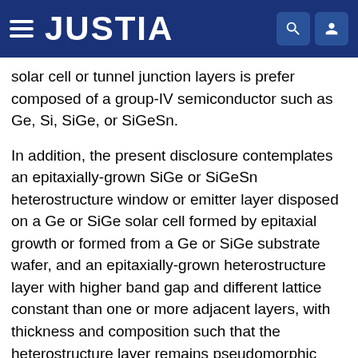JUSTIA
solar cell or tunnel junction layers is prefer composed of a group-IV semiconductor such as Ge, Si, SiGe, or SiGeSn.
In addition, the present disclosure contemplates an epitaxially-grown SiGe or SiGeSn heterostructure window or emitter layer disposed on a Ge or SiGe solar cell formed by epitaxial growth or formed from a Ge or SiGe substrate wafer, and an epitaxially-grown heterostructure layer with higher band gap and different lattice constant than one or more adjacent layers, with thickness and composition such that the heterostructure layer remains pseudomorphic with respect to adjacent layer(s), i.e., such that the heterostructure layer is strained and not relaxed, with an intact, largely defect-free crystal structure. The significance of variations using one or more strained